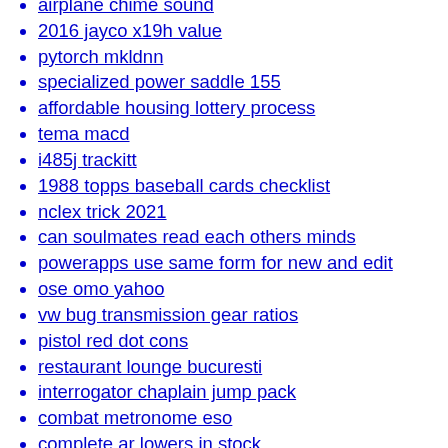airplane chime sound
2016 jayco x19h value
pytorch mkldnn
specialized power saddle 155
affordable housing lottery process
tema macd
i485j trackitt
1988 topps baseball cards checklist
nclex trick 2021
can soulmates read each others minds
powerapps use same form for new and edit
ose omo yahoo
vw bug transmission gear ratios
pistol red dot cons
restaurant lounge bucuresti
interrogator chaplain jump pack
combat metronome eso
complete ar lowers in stock
teddy ruxpin 2021
clickdetector mouseclick not working
houses to rent chadderton
apex trigger bar
paintable seam tape
omega oven manual
used vespa scooters for sale